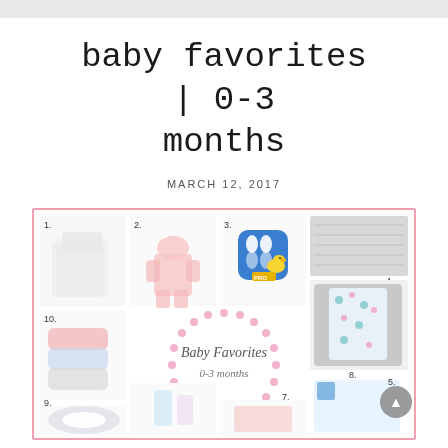baby favorites | 0-3 months
MARCH 12, 2017
[Figure (infographic): A collage of baby product favorites for 0-3 months, numbered 1-10, including onesies, sleepers, a baby tracker app, swaddle blankets, a nursing pillow, baby wash, crib sheet, and bandana bibs, arranged around a central wreath logo reading 'Baby Favorites 0-3 months'. Pink border.]